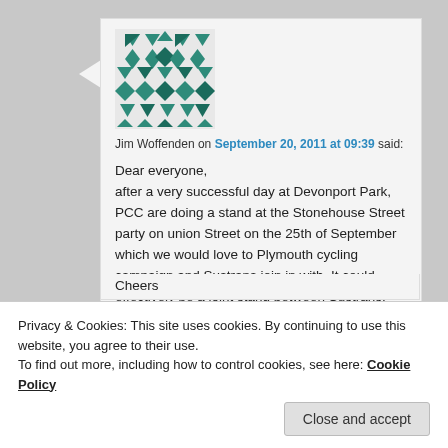[Figure (illustration): Geometric avatar image made of teal/green triangles and diamond shapes on white background, approximately 100x100px]
Jim Woffenden on September 20, 2011 at 09:39 said:
Dear everyone, after a very successful day at Devonport Park, PCC are doing a stand at the Stonehouse Street party on union Street on the 25th of September which we would love to Plymouth cycling campaign and Sustrans join in with. It could effectively be a joint stand between Sustrans, Plymouth cycling campaign and Plymouth Council.
Cheers
Privacy & Cookies: This site uses cookies. By continuing to use this website, you agree to their use.
To find out more, including how to control cookies, see here: Cookie Policy